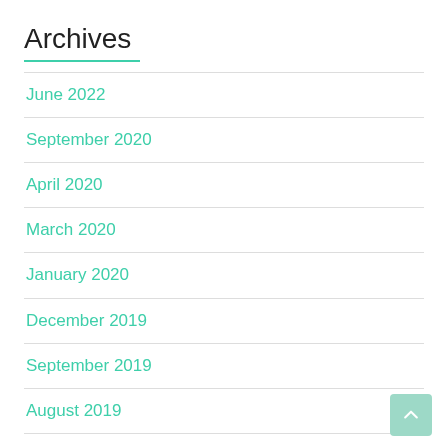Archives
June 2022
September 2020
April 2020
March 2020
January 2020
December 2019
September 2019
August 2019
July 2019
May 2019
March 2019